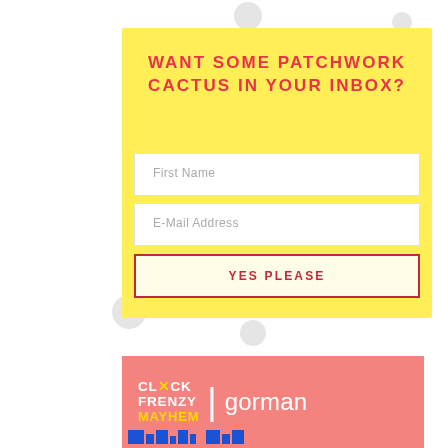WANT SOME PATCHWORK CACTUS IN YOUR INBOX?
First Name
E-Mail Address
YES PLEASE
[Figure (logo): Click Frenzy Mayhem logo and gorman brand logo on pink background]